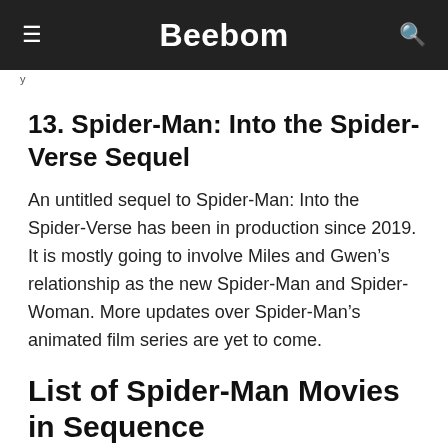Beebom
y
13. Spider-Man: Into the Spider-Verse Sequel
An untitled sequel to Spider-Man: Into the Spider-Verse has been in production since 2019. It is mostly going to involve Miles and Gwen’s relationship as the new Spider-Man and Spider-Woman. More updates over Spider-Man’s animated film series are yet to come.
List of Spider-Man Movies in Sequence